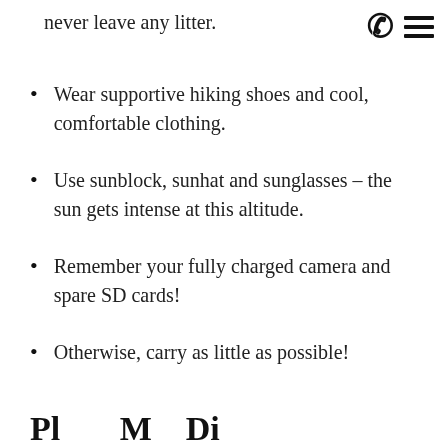never leave any litter.
Wear supportive hiking shoes and cool, comfortable clothing.
Use sunblock, sunhat and sunglasses – the sun gets intense at this altitude.
Remember your fully charged camera and spare SD cards!
Otherwise, carry as little as possible!
Pl... M... Di...